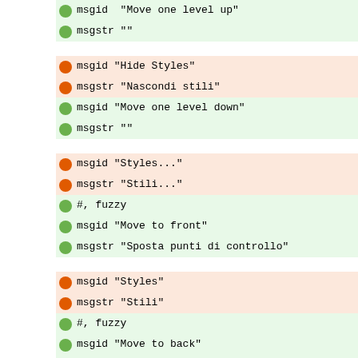+ msgid "Move one level up"
+ msgstr ""
- msgid "Hide Styles"
- msgstr "Nascondi stili"
+ msgid "Move one level down"
+ msgstr ""
- msgid "Styles..."
- msgstr "Stili..."
+ #, fuzzy
+ msgid "Move to front"
+ msgstr "Sposta punti di controllo"
- msgid "Styles"
- msgstr "Stili"
+ #, fuzzy
+ msgid "Move to back"
+ msgstr "Manda in fondo"
- msgid "No Style"
- msgstr "Nessuno stile"
+ msgid ""
+ "Indicates the level the object is